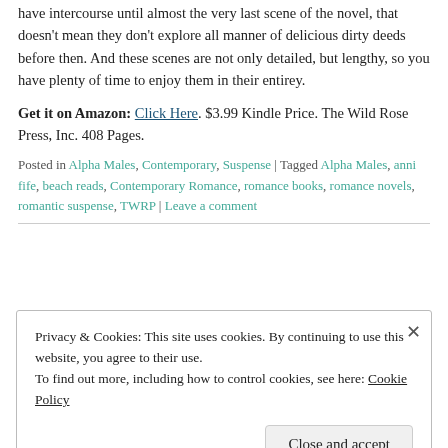have intercourse until almost the very last scene of the novel, that doesn't mean they don't explore all manner of delicious dirty deeds before then. And these scenes are not only detailed, but lengthy, so you have plenty of time to enjoy them in their entirey.
Get it on Amazon: Click Here. $3.99 Kindle Price. The Wild Rose Press, Inc. 408 Pages.
Posted in Alpha Males, Contemporary, Suspense | Tagged Alpha Males, anni fife, beach reads, Contemporary Romance, romance books, romance novels, romantic suspense, TWRP | Leave a comment
Privacy & Cookies: This site uses cookies. By continuing to use this website, you agree to their use. To find out more, including how to control cookies, see here: Cookie Policy
Close and accept